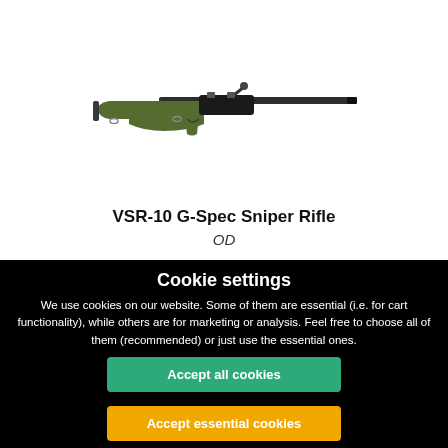[Figure (photo): A VSR-10 G-Spec Sniper Rifle with olive drab green stock and black barrel, shown in profile view against a white background]
VSR-10 G-Spec Sniper Rifle
OD
Cookie settings
We use cookies on our website. Some of them are essential (i.e. for cart functionality), while others are for marketing or analysis. Feel free to choose all of them (recommended) or just use the essential ones.
Accept all cookies
Accept essential cookies
Refuse cookies